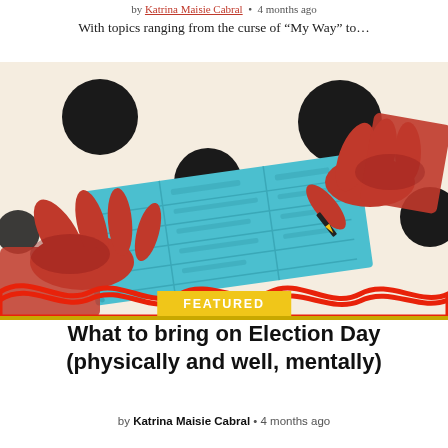by Katrina Maisie Cabral • 4 months ago
With topics ranging from the curse of “My Way” to…
[Figure (illustration): Illustration of two red hands pointing at a cyan/teal voting ballot/form on a polka-dot background with large black circles, and a red wavy line along the bottom. A yellow 'FEATURED' badge overlays the bottom center of the image.]
What to bring on Election Day (physically and well, mentally)
by Katrina Maisie Cabral • 4 months ago